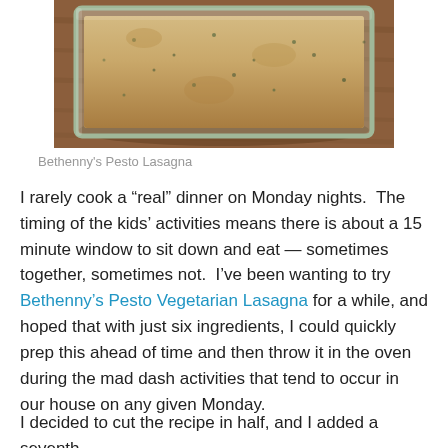[Figure (photo): A glass baking dish containing pesto lasagna, viewed from above at an angle, with a golden-brown cheesy top.]
Bethenny's Pesto Lasagna
I rarely cook a “real” dinner on Monday nights.  The timing of the kids’ activities means there is about a 15 minute window to sit down and eat — sometimes together, sometimes not.  I’ve been wanting to try Bethenny’s Pesto Vegetarian Lasagna for a while, and hoped that with just six ingredients, I could quickly prep this ahead of time and then throw it in the oven during the mad dash activities that tend to occur in our house on any given Monday.
I decided to cut the recipe in half, and I added a seventh